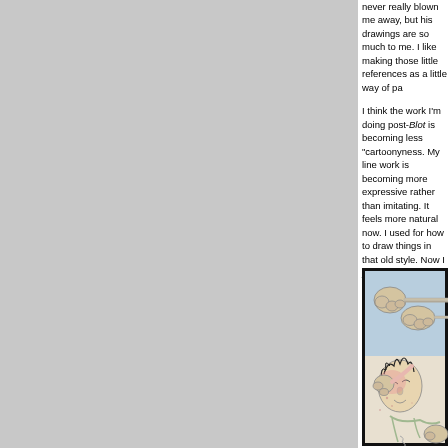never really blown me away, but his drawings are so much to me. I like making those little references as a little way of pa...
I think the work I'm doing post-Blot is becoming less "cartoonyness. My line work is becoming more expressive rather than imitating. It feels more natural now. I used for how to draw things in that old style. Now I just dra...
[Figure (illustration): A cartoon illustration showing a character being punched or hit, with exaggerated cartoon fists. The character has spiky black hair and appears to be in distress. The illustration is framed with a black border and has a light blue and white background.]